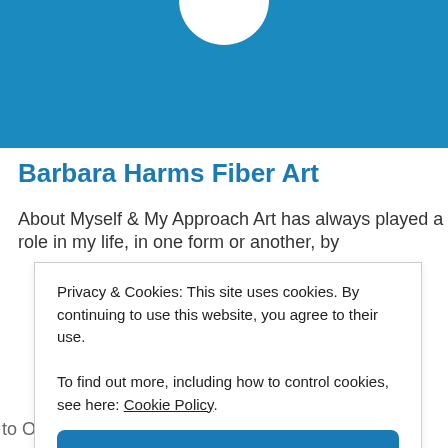[Figure (photo): Blue banner with partial white avatar circle at top center, representing a profile photo area on a website.]
Barbara Harms Fiber Art
About Myself & My Approach Art has always played a role in my life, in one form or another, by
Privacy & Cookies: This site uses cookies. By continuing to use this website, you agree to their use.
To find out more, including how to control cookies, see here: Cookie Policy
[Close and accept]
to Oregon years later, I was introduced to quilting